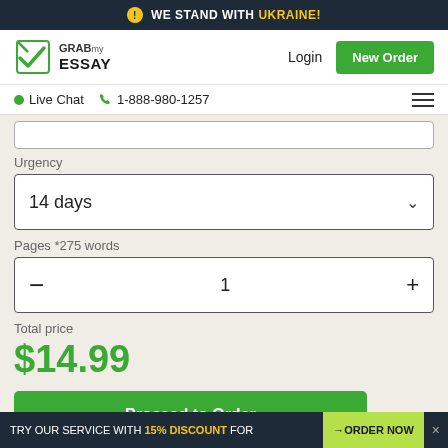WE STAND WITH UKRAINE!
[Figure (logo): GrabMyEssay logo with green checkmark icon]
Login
New Order
Live Chat  1-888-980-1257
Urgency
14 days
Pages *275 words
1
Total price
$14.99
Proceed to Order
TRY OUR SERVICE WITH 15% DISCOUNT FOR  →ORDER NOW  ×